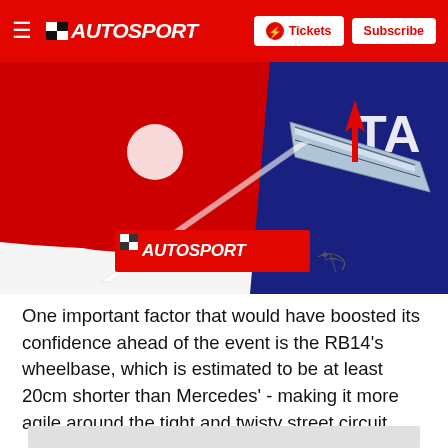≡ AUTOSPORT  Tickets  Subscribe
[Figure (photo): Close-up technical illustration of a Formula 1 car rear section, showing the Red Bull RB14 with a red arrow pointing to the rear wheel area. An Autosport watermark logo and an artist signature are visible on the image.]
One important factor that would have boosted its confidence ahead of the event is the RB14's wheelbase, which is estimated to be at least 20cm shorter than Mercedes' - making it more agile around the tight and twisty street circuit.
[Figure (photo): Partially visible image placeholder (light grey rectangle) at the bottom of the page.]